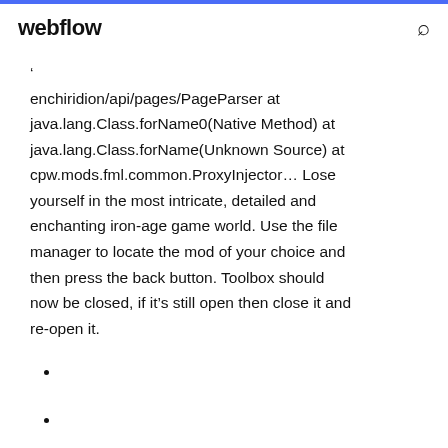webflow
enchiridion/api/pages/PageParser at java.lang.Class.forName0(Native Method) at java.lang.Class.forName(Unknown Source) at cpw.mods.fml.common.ProxyInjector... Lose yourself in the most intricate, detailed and enchanting iron-age game world. Use the file manager to locate the mod of your choice and then press the back button. Toolbox should now be closed, if it's still open then close it and re-open it.